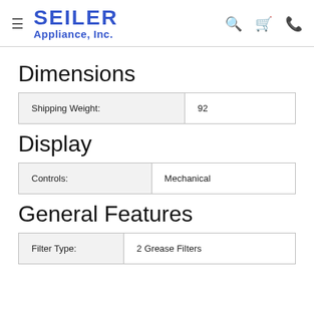SEILER Appliance, Inc.
Dimensions
|  |  |
| --- | --- |
| Shipping Weight: | 92 |
Display
|  |  |
| --- | --- |
| Controls: | Mechanical |
General Features
|  |  |
| --- | --- |
| Filter Type: | 2 Grease Filters |